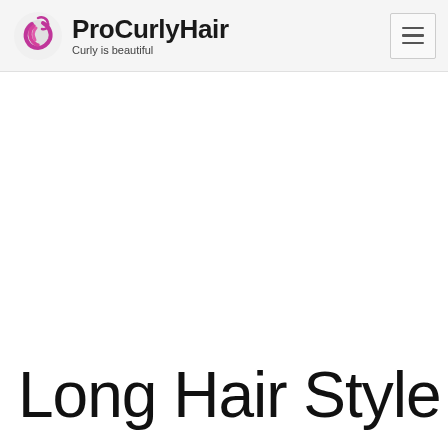ProCurlyHair — Curly is beautiful
Long Hair Style